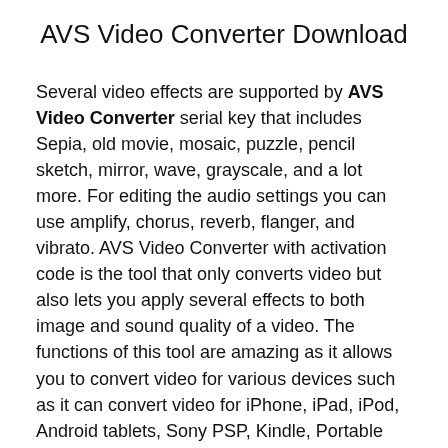AVS Video Converter Download
Several video effects are supported by AVS Video Converter serial key that includes Sepia, old movie, mosaic, puzzle, pencil sketch, mirror, wave, grayscale, and a lot more. For editing the audio settings you can use amplify, chorus, reverb, flanger, and vibrato. AVS Video Converter with activation code is the tool that only converts video but also lets you apply several effects to both image and sound quality of a video. The functions of this tool are amazing as it allows you to convert video for various devices such as it can convert video for iPhone, iPad, iPod, Android tablets, Sony PSP, Kindle, Portable media players, etc.
Various devices and smartphones support AVS